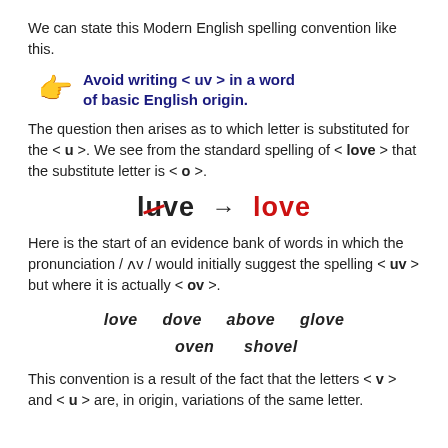We can state this Modern English spelling convention like this.
Avoid writing < uv > in a word of basic English origin.
The question then arises as to which letter is substituted for the < u >. We see from the standard spelling of < love > that the substitute letter is < o >.
[Figure (illustration): Struck-through 'luve' with arrow pointing to 'love' in red]
Here is the start of an evidence bank of words in which the pronunciation / ʌv / would initially suggest the spelling < uv > but where it is actually < ov >.
love   dove   above   glove
          oven   shovel
This convention is a result of the fact that the letters < v > and < u > are, in origin, variations of the same letter.